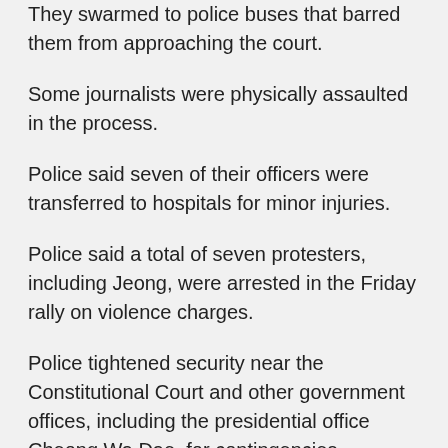They swarmed to police buses that barred them from approaching the court.
Some journalists were physically assaulted in the process.
Police said seven of their officers were transferred to hospitals for minor injuries.
Police said a total of seven protesters, including Jeong, were arrested in the Friday rally on violence charges.
Police tightened security near the Constitutional Court and other government offices, including the presidential office Cheong Wa Dae, for contingencies.
They have surrounded the court with police buses and mobilized some 21,600 officers to stand guard.